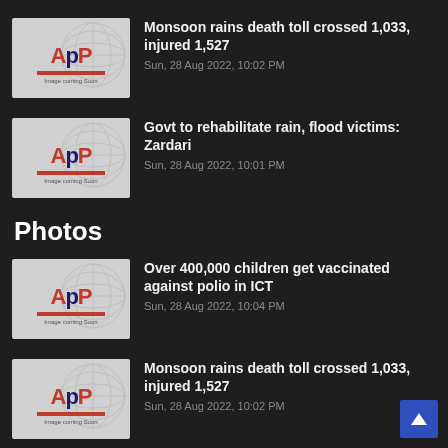Monsoon rains death toll crossed 1,033, injured 1,527 — Sun, 28 Aug 2022, 10:02 PM
Govt to rehabilitate rain, flood victims: Zardari — Sun, 28 Aug 2022, 10:01 PM
Photos
Over 400,000 children get vaccinated against polio in ICT — Sun, 28 Aug 2022, 10:04 PM
Monsoon rains death toll crossed 1,033, injured 1,527 — Sun, 28 Aug 2022, 10:02 PM